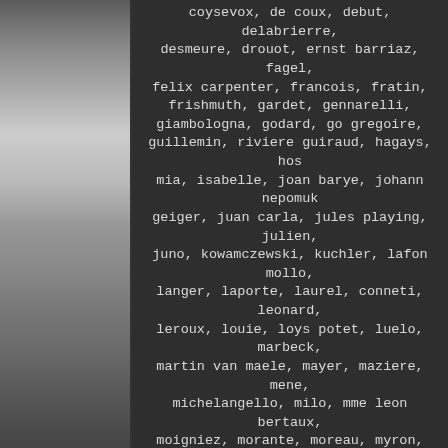[Figure (photo): A grayscale photograph of a sculpture or bust, visible on the left side of the page]
coysevox, de coux, debut, delabrierre, desmeure, drouot, ernst barriaz, fagel, felix carpenter, francois, fratin, frishmuth, gardet, gennarelli, giambologna, godard, go gregoire, guillemin, riviere guiraud, hagays, hos mia, isabelle, joan barye, johann nepomuk geiger, juan carla, jules playing, julien, juno, kowamczewski, kuchler, lafon mollo, langer, laporte, laurel, conneti, leonard, leroux, louie, loys potet, luelo, marbeck, martin van maele, mayer, maziere, mene, michelangello, milo, mme leon bertaux, moigniez, morante, moreau, myron, nick, noee, otto poerttzel, patoue, paul avril, paul ponsard, pautrot, peter breuer , peter fendi, petre, philippe, philips, hillstone, stone jules mene, stone the faguays, pitta luga, flat, potter, preifs, rauch, rige, rodin, rombaut, rubin, schmidt felling, stoly, szczeblewski, thorburn, titze, tony noel, valton, weinman, zheng. The creators we such as qual buell cartoonist for esquire magazine, al moore, alain aslan, alberto vargas, allen anderson, archie dickens, art frahm, baron von lind, bettie page, bill randall, bill ward, boris vallejo -